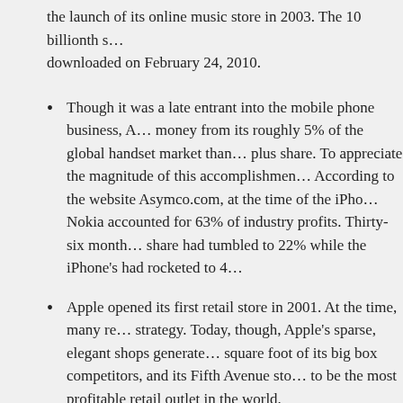the launch of its online music store in 2003. The 10 billionth s… downloaded on February 24, 2010.
Though it was a late entrant into the mobile phone business, A… money from its roughly 5% of the global handset market than… plus share. To appreciate the magnitude of this accomplishmen… According to the website Asymco.com, at the time of the iPho… Nokia accounted for 63% of industry profits. Thirty-six month… share had tumbled to 22% while the iPhone's had rocketed to 4…
Apple opened its first retail store in 2001. At the time, many re… strategy. Today, though, Apple's sparse, elegant shops generate… square foot of its big box competitors, and its Fifth Avenue sto… to be the most profitable retail outlet in the world.
Since the launch of the company's App Store in 2008, Apple ha… largest software distributor. Thus far, developers have created … applications for the company's iOS operating system, and cons…